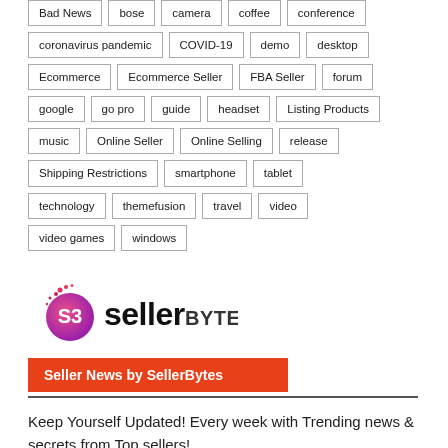Bad News, bose, camera, coffee, conference
coronavirus pandemic, COVID-19, demo, desktop
Ecommerce, Ecommerce Seller, FBA Seller, forum
google, go pro, guide, headset, Listing Products
music, Online Seller, Online Selling, release
Shipping Restrictions, smartphone, tablet
technology, themefusion, travel, video
video games, windows
[Figure (logo): SellerBytes logo with pink/magenta S3 icon and stylized text 'sellerBYTES']
Seller News by SellerBytes
Keep Yourself Updated! Every week with Trending news & secrets from Top sellers!